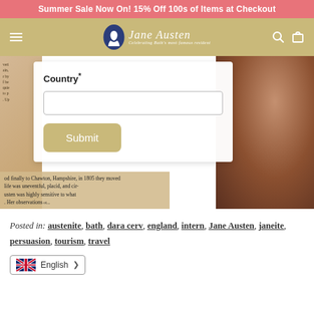Summer Sale Now On! 15% Off 100s of Items at Checkout
[Figure (logo): Jane Austen Centre logo with oval portrait and script text 'Jane Austen - Celebrating Bath's most famous resident']
Country*
[input field]
Submit
[Figure (photo): Background hero image with vintage book text on left and woman in period costume holding teacup on right]
and finally to Chawton, Hampshire, in 1805 they moved life was uneventful, placid, and cir- usten was highly sensitive to what . Her observations ot...
Posted in: austenite, bath, dara cerv, england, intern, Jane Austen, janeite, persuasion, tourism, travel
English